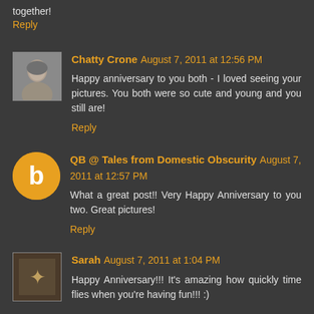together!
Reply
Chatty Crone August 7, 2011 at 12:56 PM
Happy anniversary to you both - I loved seeing your pictures. You both were so cute and young and you still are!
Reply
QB @ Tales from Domestic Obscurity August 7, 2011 at 12:57 PM
What a great post!! Very Happy Anniversary to you two. Great pictures!
Reply
Sarah August 7, 2011 at 1:04 PM
Happy Anniversary!!! It's amazing how quickly time flies when you're having fun!!! :)